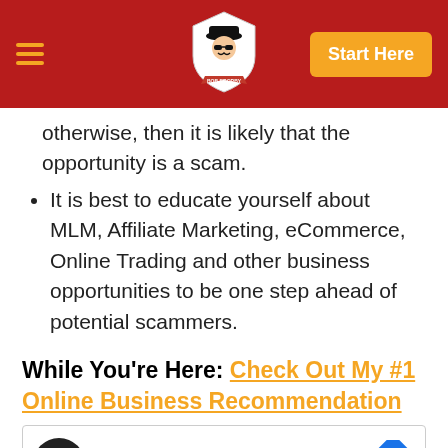Navigation header with hamburger menu, site logo, and Start Here button
otherwise, then it is likely that the opportunity is a scam.
It is best to educate yourself about MLM, Affiliate Marketing, eCommerce, Online Trading and other business opportunities to be one step ahead of potential scammers.
While You're Here: Check Out My #1 Online Business Recommendation
[Figure (other): Advertisement banner showing Shop Back To School Deals at Leesburg Premium Outlets with navigation icon]